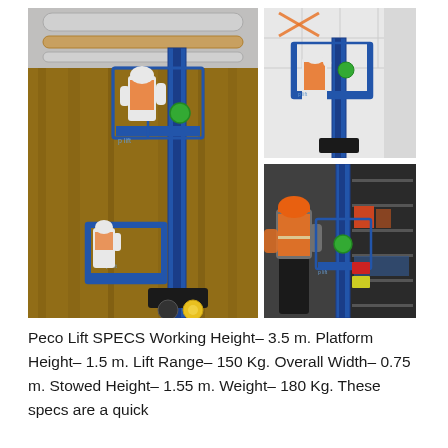[Figure (photo): Three photos showing the Peco Lift vertical personnel lift in use: left large photo shows a worker on the blue lift working at height against an insulated wall with the lift's platform and guardrail visible; top right photo shows a worker using the lift near a ceiling in an office/building environment; bottom right photo shows a worker in orange hi-vis vest operating the lift controls beside a storage unit.]
Peco Lift SPECS Working Height– 3.5 m. Platform Height– 1.5 m. Lift Range– 150 Kg. Overall Width– 0.75 m. Stowed Height– 1.55 m. Weight– 180 Kg. These specs are a quick